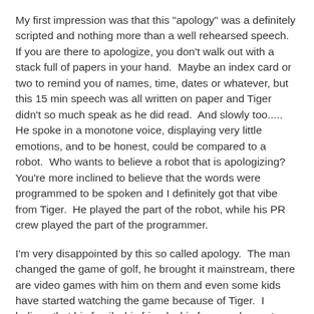My first impression was that this "apology" was a definitely scripted and nothing more than a well rehearsed speech.  If you are there to apologize, you don't walk out with a stack full of papers in your hand.  Maybe an index card or two to remind you of names, time, dates or whatever, but this 15 min speech was all written on paper and Tiger didn't so much speak as he did read.  And slowly too.....  He spoke in a monotone voice, displaying very little emotions, and to be honest, could be compared to a robot.  Who wants to believe a robot that is apologizing?  You're more inclined to believe that the words were programmed to be spoken and I definitely got that vibe from Tiger.  He played the part of the robot, while his PR crew played the part of the programmer.
I'm very disappointed by this so called apology.  The man changed the game of golf, he brought it mainstream, there are video games with him on them and even some kids have started watching the game because of Tiger.  I believe that his family, his friends, his fans, and even to an extent, his mistresses, deserved a more heart felt apology than the craptastic speech that was on display this morning.  His family, his individual sponsors, himself, and his kids deserve a true apology from the heart and not some public relations stunt that was designed to revive his...